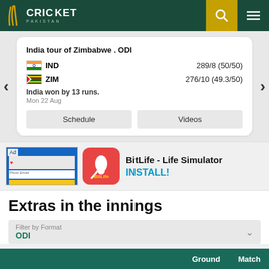CRICKET PAKISTAN
India tour of Zimbabwe . ODI
IND 289/8 (50/50)
ZIM 276/10 (49.3/50)
India won by 13 runs.
Mon 22 Aug
Schedule | Videos
[Figure (screenshot): Advertisement banner for BitLife - Life Simulator app with install button]
Extras in the innings
Filter by Format
ODI
| Ground | Match |
| --- | --- |